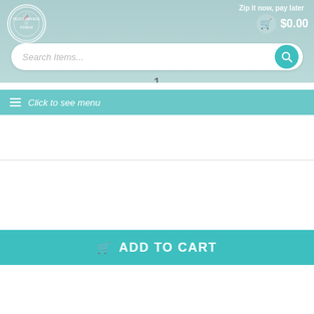[Figure (screenshot): Website header with logo, cart showing $0.00, search bar with 'Search Items...' placeholder and teal search button, quantity indicator showing '1', menu bar with hamburger icon and 'Click to see menu' text]
ADD TO CART
CALCULATE SHIPPING
Qty
Australia
Post Code
CALCULATE